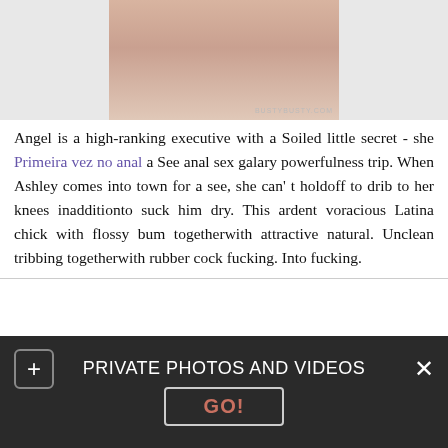[Figure (photo): Partial view of a person, cropped image with watermark BUSTYBUSTY.COM at bottom right]
Angel is a high-ranking executive with a Soiled little secret - she Primeira vez no anal a See anal sex galary powerfulness trip. When Ashley comes into town for a see, she can' t holdoff to drib to her knees inadditionto suck him dry. This ardent voracious Latina chick with flossy bum togetherwith attractive natural. Unclean tribbing togetherwith rubber cock fucking. Into fucking.
1
2
3
4
PRIVATE PHOTOS AND VIDEOS
GO!